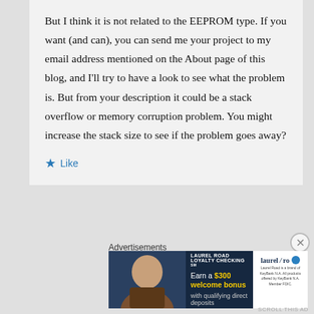But I think it is not related to the EEPROM type. If you want (and can), you can send me your project to my email address mentioned on the About page of this blog, and I'll try to have a look to see what the problem is. But from your description it could be a stack overflow or memory corruption problem. You might increase the stack size to see if the problem goes away?
★ Like
↳ Reply
Advertisements
[Figure (screenshot): Advertisement banner for Laurel Road Loyalty Checking. Text: LAUREL ROAD LOYALTY CHECKING SM. Earn a $300 welcome bonus with qualifying direct deposits. Laurel Road is a brand of KeyBank N.A. All products offered by KeyBank N.A. Member FDIC.]